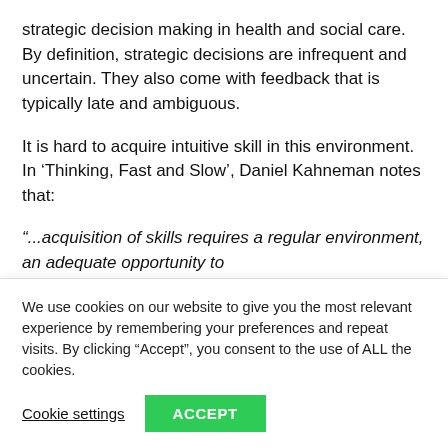strategic decision making in health and social care. By definition, strategic decisions are infrequent and uncertain. They also come with feedback that is typically late and ambiguous.
It is hard to acquire intuitive skill in this environment. In ‘Thinking, Fast and Slow’, Daniel Kahneman notes that:
“...acquisition of skills requires a regular environment, an adequate opportunity to
We use cookies on our website to give you the most relevant experience by remembering your preferences and repeat visits. By clicking “Accept”, you consent to the use of ALL the cookies.
Cookie settings   ACCEPT